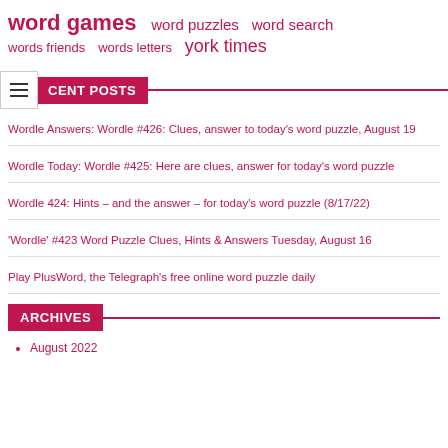word games  word puzzles  word search  words friends  words letters  york times
RECENT POSTS
Wordle Answers: Wordle #426: Clues, answer to today's word puzzle, August 19
Wordle Today: Wordle #425: Here are clues, answer for today's word puzzle
Wordle 424: Hints – and the answer – for today's word puzzle (8/17/22)
'Wordle' #423 Word Puzzle Clues, Hints & Answers Tuesday, August 16
Play PlusWord, the Telegraph's free online word puzzle daily
ARCHIVES
August 2022